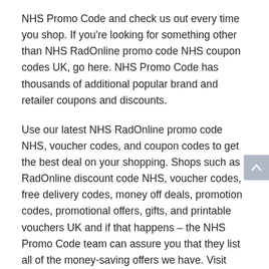NHS Promo Code and check us out every time you shop. If you're looking for something other than NHS RadOnline promo code NHS coupon codes UK, go here. NHS Promo Code has thousands of additional popular brand and retailer coupons and discounts.
Use our latest NHS RadOnline promo code NHS, voucher codes, and coupon codes to get the best deal on your shopping. Shops such as RadOnline discount code NHS, voucher codes, free delivery codes, money off deals, promotion codes, promotional offers, gifts, and printable vouchers UK and if that happens – the NHS Promo Code team can assure you that they list all of the money-saving offers we have. Visit NHS Promo Code to find the NHS RadOnline with friends and family the greatest money-saving offers. Come and visit us immediately to save!